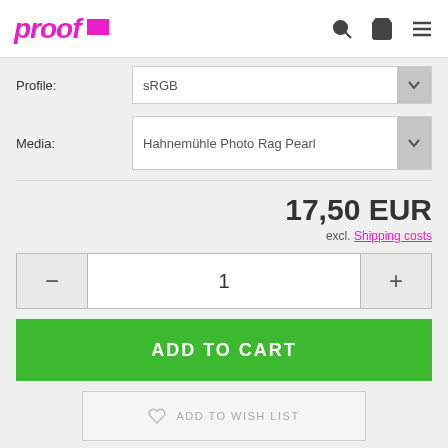proof [logo] [search] [cart] [menu]
Profile: sRGB
Media: Hahnemühle Photo Rag Pearl
17,50 EUR
excl. Shipping costs
- 1 +
ADD TO CART
ADD TO WISH LIST